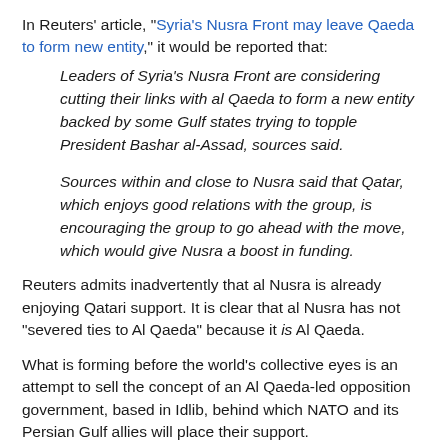In Reuters' article, "Syria's Nusra Front may leave Qaeda to form new entity," it would be reported that:
Leaders of Syria's Nusra Front are considering cutting their links with al Qaeda to form a new entity backed by some Gulf states trying to topple President Bashar al-Assad, sources said.
Sources within and close to Nusra said that Qatar, which enjoys good relations with the group, is encouraging the group to go ahead with the move, which would give Nusra a boost in funding.
Reuters admits inadvertently that al Nusra is already enjoying Qatari support. It is clear that al Nusra has not "severed ties to Al Qaeda" because it is Al Qaeda.
What is forming before the world's collective eyes is an attempt to sell the concept of an Al Qaeda-led opposition government, based in Idlib, behind which NATO and its Persian Gulf allies will place their support.